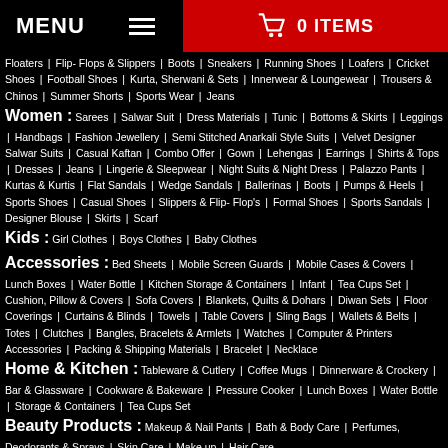MENU  ≡  🛒 0 ITEMS
Floaters | Flip- Flops & Slippers | Boots | Sneakers | Running Shoes | Loafers | Cricket Shoes | Football Shoes | Kurta, Sherwani & Sets | Innerwear & Loungewear | Trousers & Chinos | Summer Shorts | Sports Wear | Jeans
Women : Sarees | Salwar Suit | Dress Materials | Tunic | Bottoms & Skirts | Leggings | Handbags | Fashion Jewellery | Semi Stitched Anarkali Style Suits | Velvet Designer Salwar Suits | Casual Kaftan | Combo Offer | Gown | Lehengas | Earrings | Shirts & Tops | Dresses | Jeans | Lingerie & Sleepwear | Night Suits & Night Dress | Palazzo Pants | Kurtas & Kurtis | Flat Sandals | Wedge Sandals | Ballerinas | Boots | Pumps & Heels | Sports Shoes | Casual Shoes | Slippers & Flip- Flop's | Formal Shoes | Sports Sandals | Designer Blouse | Skirts | Scarf
Kids : Girl Clothes | Boys Clothes | Baby Clothes
Accessories : Bed Sheets | Mobile Screen Guards | Mobile Cases & Covers | Lunch Boxes | Water Bottle | Kitchen Storage & Containers | Infant | Tea Cups Set | Cushion, Pillow & Covers | Sofa Covers | Blankets, Quilts & Dohars | Diwan Sets | Floor Coverings | Curtains & Blinds | Towels | Table Covers | Sling Bags | Wallets & Belts | Totes | Clutches | Bangles, Bracelets & Armlets | Watches | Computer & Printers Accessories | Packing & Shipping Materials | Bracelet | Necklace
Home & Kitchen : Tableware & Cutlery | Coffee Mugs | Dinnerware & Crockery | Bar & Glassware | Cookware & Bakeware | Pressure Cooker | Lunch Boxes | Water Bottle | Storage & Containers | Tea Cups Set
Beauty Products : Makeup & Nail Pants | Bath & Body Care | Perfumes, Deodorants & Sprays | Skin Care | Make up | Hair Care